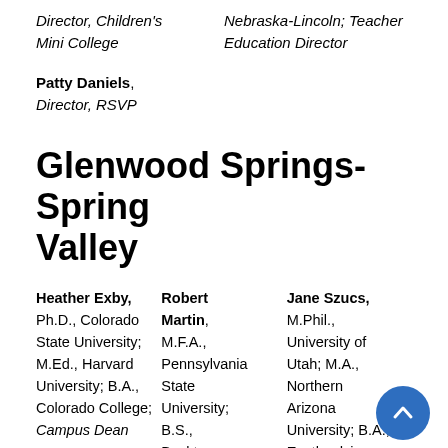Director, Children's Mini College | Nebraska-Lincoln; Teacher Education Director
Patty Daniels, Director, RSVP
Glenwood Springs-Spring Valley
Heather Exby, Ph.D., Colorado State University; M.Ed., Harvard University; B.A., Colorado College; Campus Dean
Robert Martin, M.F.A., Pennsylvania State University; B.S., Buckminster
Jane Szucs, M.Phil., University of Utah; M.A., Northern Arizona University; B.A., Eastlandsia